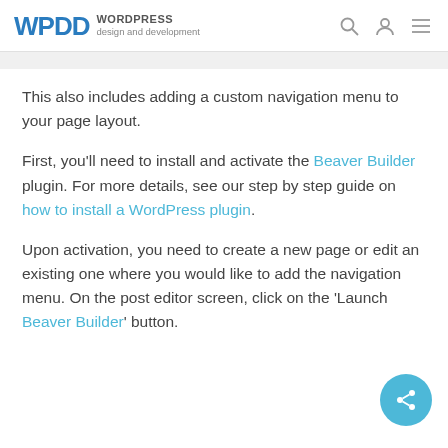WPDD WORDPRESS design and development
This also includes adding a custom navigation menu to your page layout.
First, you'll need to install and activate the Beaver Builder plugin. For more details, see our step by step guide on how to install a WordPress plugin.
Upon activation, you need to create a new page or edit an existing one where you would like to add the navigation menu. On the post editor screen, click on the 'Launch Beaver Builder' button.